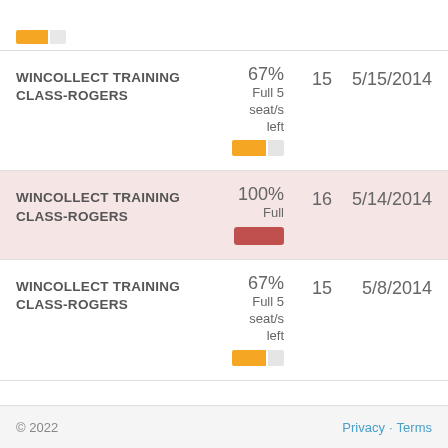| Class Name | Status | Seats | Date |
| --- | --- | --- | --- |
| WINCOLLECT TRAINING CLASS-ROGERS | 67% Full 5 seat/s left | 15 | 5/15/2014 |
| WINCOLLECT TRAINING CLASS-ROGERS | 100% Full | 16 | 5/14/2014 |
| WINCOLLECT TRAINING CLASS-ROGERS | 67% Full 5 seat/s left | 15 | 5/8/2014 |
© 2022   Privacy · Terms